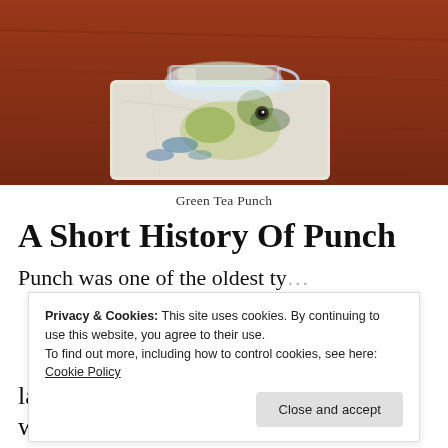[Figure (photo): A glass cup sitting on a square stone/marble coaster decorated with a bird illustration, placed on a reddish-brown wooden surface. The image is cropped showing mainly the coaster and lower part of the glass.]
Green Tea Punch
A Short History Of Punch
Punch was one of the oldest types of lands. These voyages, often to India, were
Privacy & Cookies: This site uses cookies. By continuing to use this website, you agree to their use.
To find out more, including how to control cookies, see here: Cookie Policy
Close and accept